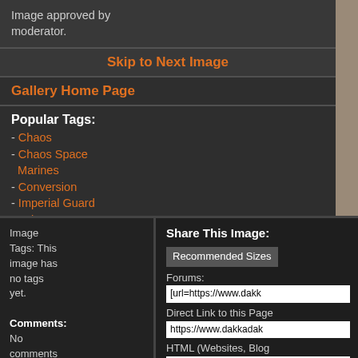Image approved by moderator.
Skip to Next Image
Gallery Home Page
Popular Tags:
- Chaos
- Chaos Space Marines
- Conversion
- Imperial Guard
- Orks
- Space Marines
- Terrain
- Warhammer 40,000
- Warhammer Fantasy
- Work In Progress
Highest Rated Images:
- This Week
- This Month
[Figure (photo): Photo of painted Warhammer 40,000 miniatures on a tan/beige base, showing dark armored figures with white and gray details]
Image Tags: This image has no tags yet.
Comments: No comments have been added yet.
Share This Image:
Recommended Sizes
Forums:
[url=https://www.dakk
Direct Link to this Page
https://www.dakkadak
HTML (Websites, Blog
<a href='https://www.d